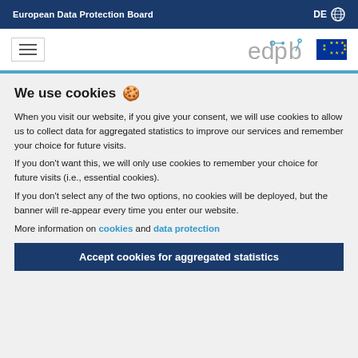European Data Protection Board  DE 🌐
[Figure (logo): EDPB logo with hamburger menu icon on left and edpb text with EU flag on right]
We use cookies 🍪
When you visit our website, if you give your consent, we will use cookies to allow us to collect data for aggregated statistics to improve our services and remember your choice for future visits.
If you don't want this, we will only use cookies to remember your choice for future visits (i.e., essential cookies).
If you don't select any of the two options, no cookies will be deployed, but the banner will re-appear every time you enter our website.
More information on cookies and data protection
Accept cookies for aggregated statistics